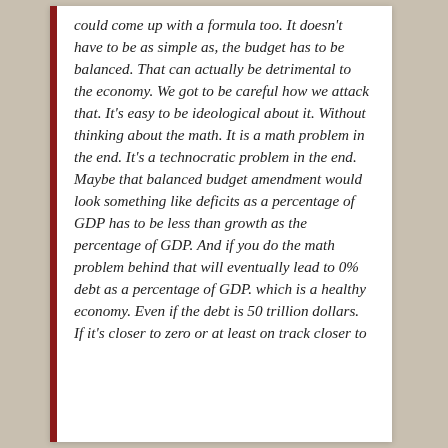could come up with a formula too. It doesn't have to be as simple as, the budget has to be balanced. That can actually be detrimental to the economy. We got to be careful how we attack that. It's easy to be ideological about it. Without thinking about the math. It is a math problem in the end. It's a technocratic problem in the end. Maybe that balanced budget amendment would look something like deficits as a percentage of GDP has to be less than growth as the percentage of GDP. And if you do the math problem behind that will eventually lead to 0% debt as a percentage of GDP. which is a healthy economy. Even if the debt is 50 trillion dollars. If it's closer to zero or at least on track closer to